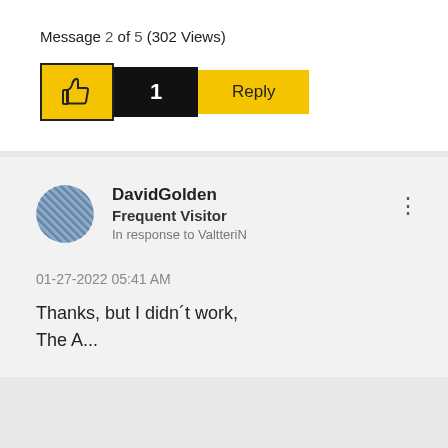Message 2 of 5 (302 Views)
[Figure (infographic): Like button (thumbs up icon on yellow background), count badge showing '1' on black background, and yellow Reply button]
DavidGolden
Frequent Visitor
In response to ValtteriN
01-27-2022 05:41 AM
Thanks, but I didn´t work,
The A...